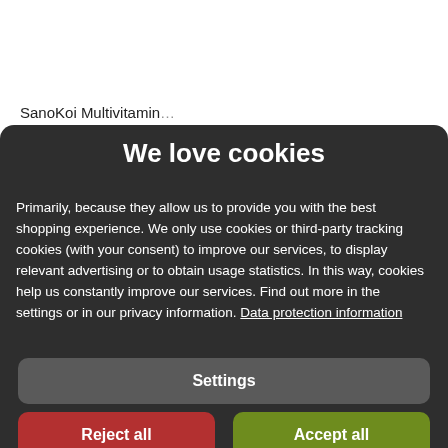Aquatlantis	Aquarium Münster BioFish...
Tetra Delica Artemia	Microbe-Lift Pond Xtreme
SanoKoi Multivitamin...
We love cookies
Primarily, because they allow us to provide you with the best shopping experience. We only use cookies or third-party tracking cookies (with your consent) to improve our services, to display relevant advertising or to obtain usage statistics. In this way, cookies help us constantly improve our services. Find out more in the settings or in our privacy information. Data protection information
Settings
Reject all
Accept all